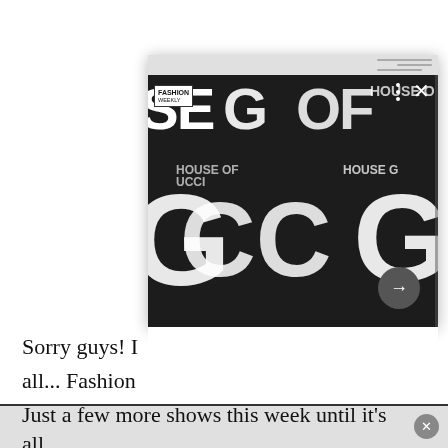[Figure (photo): A woman with long blonde/brown hair wearing a black dress with embellishments, standing in front of a 'House of Gucci' backdrop. The photo is shown in a popup/lightbox overlay with navigation controls (three-dot menu, close X button, arrow button). A small watermark stamp is visible in the upper left of the image.]
Sorry guys! I                 all... Fashion
Just a few more shows this week until it's all